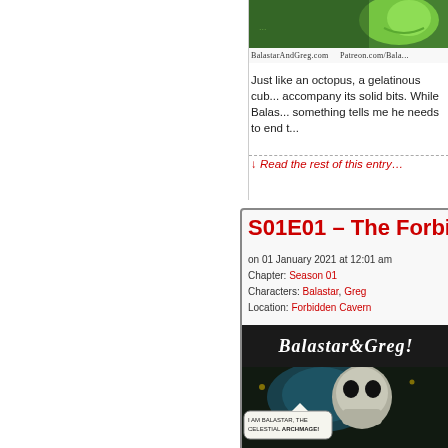[Figure (illustration): Top portion of a comic strip panel showing a green creature, partially visible at the top of the page]
BalastarAndGreg.com   Patreon.com/Bala...
Just like an octopus, a gelatinous cub... accompany its solid bits. While Balas... something tells me he needs to end t...
↓ Read the rest of this entry…
S01E01 – The Forbidd...
on 01 January 2021 at 12:01 am
Chapter: Season 01
Characters: Balastar, Greg
Location: Forbidden Cavern
[Figure (illustration): Balastar&Greg! comic logo on dark background with stylized cursive text]
[Figure (illustration): Comic panel showing a skull-like character (Balastar) in a dark cavern with speech bubble reading 'I AM BALASTAR, THE CELESTIAL ARCHMAGE!']